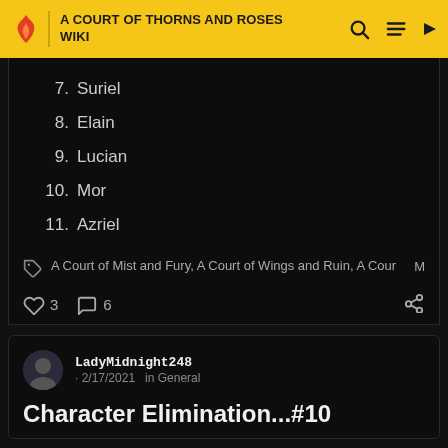A COURT OF THORNS AND ROSES WIKI
7. Suriel
8. Elain
9. Lucian
10. Mor
11. Azriel
A Court of Mist and Fury, A Court of Wings and Ruin, A Cour More
3  6
LadyMidnight248 · 2/17/2021 in General
Character Elimination...#10